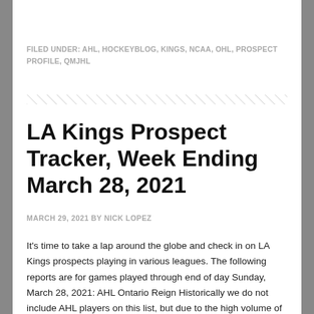FILED UNDER: AHL, HOCKEYBLOG, KINGS, NCAA, OHL, PROSPECT PROFILE, QMJHL
LA Kings Prospect Tracker, Week Ending March 28, 2021
MARCH 29, 2021 BY NICK LOPEZ
It's time to take a lap around the globe and check in on LA Kings prospects playing in various leagues. The following reports are for games played through end of day Sunday, March 28, 2021: AHL Ontario Reign Historically we do not include AHL players on this list, but due to the high volume of [...]